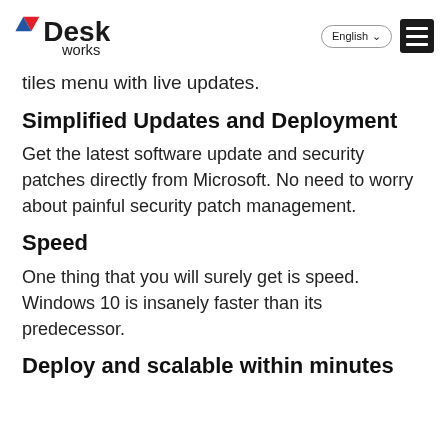vDesk works — English [language selector] [menu]
tiles menu with live updates.
Simplified Updates and Deployment
Get the latest software update and security patches directly from Microsoft. No need to worry about painful security patch management.
Speed
One thing that you will surely get is speed. Windows 10 is insanely faster than its predecessor.
Deploy and scalable within minutes